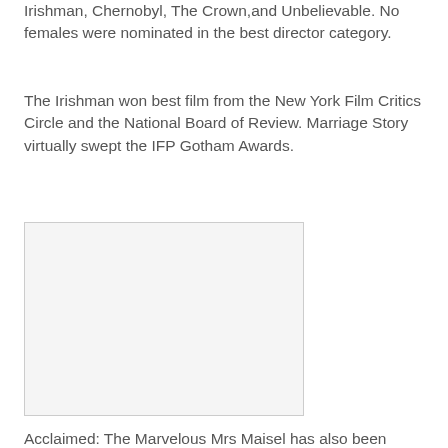Irishman, Chernobyl, The Crown, and Unbelievable. No females were nominated in the best director category.
The Irishman won best film from the New York Film Critics Circle and the National Board of Review. Marriage Story virtually swept the IFP Gotham Awards.
[Figure (photo): Blank/placeholder image box with light gray background and border]
Acclaimed: The Marvelous Mrs Maisel has also been nominated twice – the character is played by Rachel Brosnahan
[Figure (photo): Partial blank/placeholder image box visible at bottom of page]